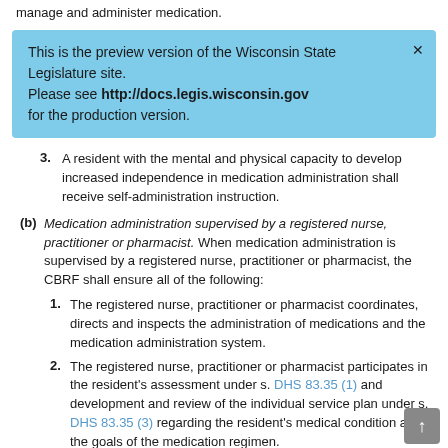manage and administer medication.
This is the preview version of the Wisconsin State Legislature site. Please see http://docs.legis.wisconsin.gov for the production version.
3. A resident with the mental and physical capacity to develop increased independence in medication administration shall receive self-administration instruction.
(b) Medication administration supervised by a registered nurse, practitioner or pharmacist. When medication administration is supervised by a registered nurse, practitioner or pharmacist, the CBRF shall ensure all of the following:
1. The registered nurse, practitioner or pharmacist coordinates, directs and inspects the administration of medications and the medication administration system.
2. The registered nurse, practitioner or pharmacist participates in the resident's assessment under s. DHS 83.35 (1) and development and review of the individual service plan under s. DHS 83.35 (3) regarding the resident's medical condition and the goals of the medication regimen.
(c) Medication administration not supervised by a registered nurse, practitioner or pharmacist. When medication